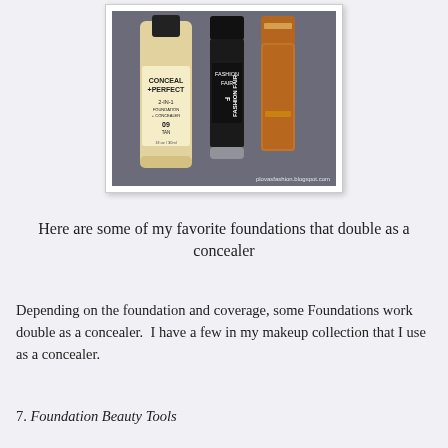[Figure (photo): Photo of three makeup products on a gray fabric background: a bottle of Milani Conceal + Perfect 2-in-1 Foundation + Concealer in shade 09 Tan, a Fashion Fair mascara or concealer stick, and a copper/brown lipstick or concealer tube. Watermark reads plovasfashion.blogspot.com]
Here are some of my favorite foundations that double as a concealer
Depending on the foundation and coverage, some Foundations work double as a concealer.  I have a few in my makeup collection that I use as a concealer.
7. Foundation Beauty Tools